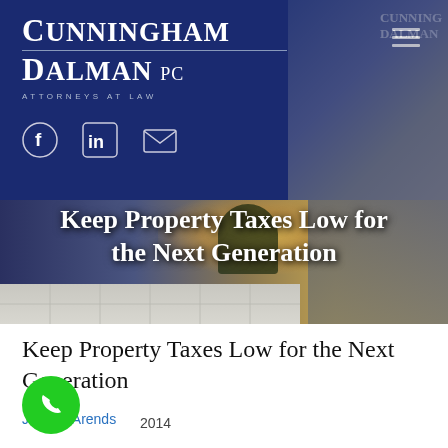Cunningham Dalman PC — Attorneys at Law
[Figure (photo): Hero banner photo of a building at dusk/sunset with overlay text 'Keep Property Taxes Low for the Next Generation']
Keep Property Taxes Low for the Next Generation
Jessica Arends
2014